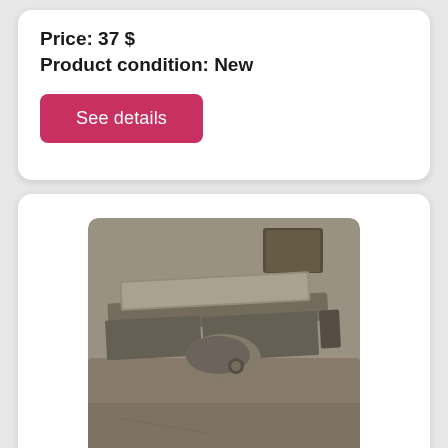Price: 37 $
Product condition: New
See details
[Figure (photo): Photo of a 6-inch Rockwell/Delta jointer placed on a concrete surface, with tools visible in the background.]
6" Rockwell/Delta jointer reduced, used
6" rockwell/delta jointer reduced. Bidding